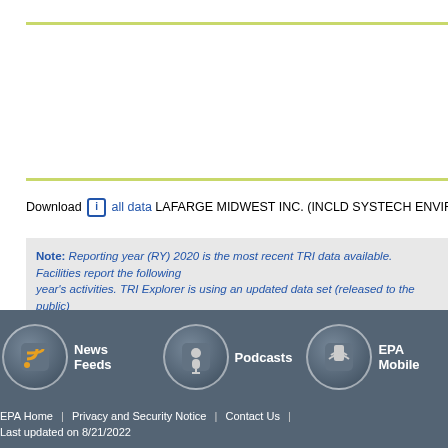Download [i] all data LAFARGE MIDWEST INC. (INCLD SYSTECH ENVIRONM...
Note: Reporting year (RY) 2020 is the most recent TRI data available. Facilities r... year's activities. TRI Explorer is using an updated data set (released to the public... after the National Analysis Dataset was released. Revisions submitted to EPA aft... EPA Envirofacts.
↑ Top of Page
News Feeds | Podcasts | EPA Mobile | EPA Home | Privacy and Security Notice | Contact Us | Last updated on 8/21/2022